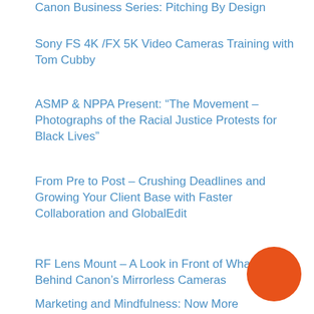Canon Business Series: Pitching By Design
Sony FS 4K /FX 5K Video Cameras Training with Tom Cubby
ASMP & NPPA Present: “The Movement – Photographs of the Racial Justice Protests for Black Lives”
From Pre to Post – Crushing Deadlines and Growing Your Client Base with Faster Collaboration and GlobalEdit
RF Lens Mount – A Look in Front of What’s Behind Canon’s Mirrorless Cameras
Marketing and Mindfulness: Now More